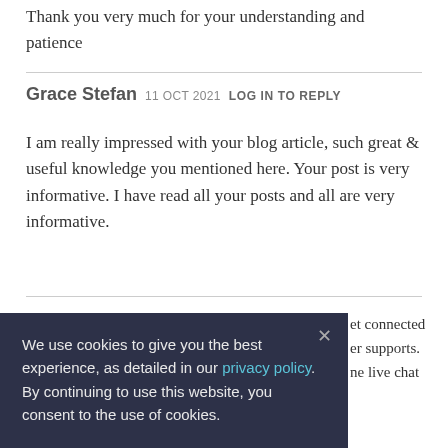Thank you very much for your understanding and patience
Grace Stefan  11 OCT 2021  LOG IN TO REPLY
I am really impressed with your blog article, such great & useful knowledge you mentioned here. Your post is very informative. I have read all your posts and all are very informative.
We use cookies to give you the best experience, as detailed in our privacy policy. By continuing to use this website, you consent to the use of cookies.
et connected
er supports.
ne live chat